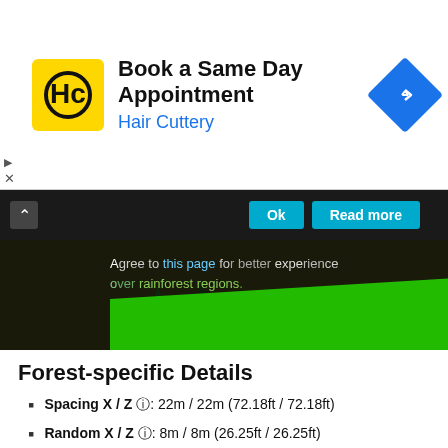[Figure (advertisement): Hair Cuttery ad banner: Book a Same Day Appointment with Hair Cuttery logo and navigation icon]
[Figure (photo): Forest scenery image with green overlay and text about agreeing to page for better experience of rainforest regions]
Forest-specific Details
Spacing X / Z ℹ: 22m / 22m (72.18ft / 72.18ft)
Random X / Z ℹ: 8m / 8m (26.25ft / 26.25ft)
Skip Surfaces ℹ: water
LOD Range ℹ: 15000m (9.32 miles)
Please note that you must download the library as a whole from the OpenSceneryX home page, we do not provide downloads for individual items. If you are a scenery developer and want to know why this is, and how